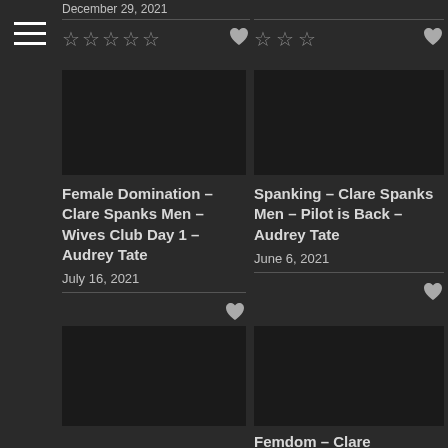[Figure (other): Hamburger menu icon (three horizontal white lines)]
December 29, 2021
[Figure (other): 5 empty star rating icons]
[Figure (other): Heart/like icon]
[Figure (other): 3 empty star rating icons]
[Figure (other): Heart/like icon]
Female Domination – Clare Spanks Men – Wives Club Day 1 – Audrey Tate
July 16, 2021
[Figure (other): Heart/like icon]
Spanking – Clare Spanks Men – Pilot is Back – Audrey Tate
June 6, 2021
[Figure (other): Heart/like icon]
Femdom – Clare